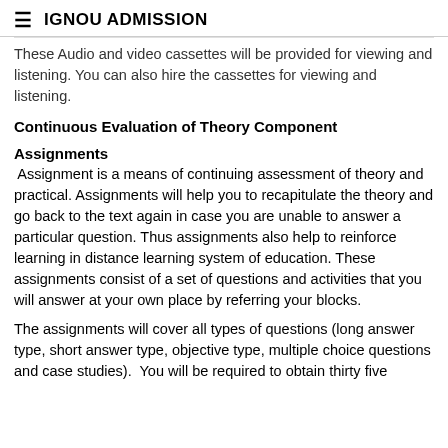≡  IGNOU ADMISSION
These Audio and video cassettes will be provided for viewing and listening. You can also hire the cassettes for viewing and listening.
Continuous Evaluation of Theory Component
Assignments
Assignment is a means of continuing assessment of theory and practical. Assignments will help you to recapitulate the theory and go back to the text again in case you are unable to answer a particular question. Thus assignments also help to reinforce learning in distance learning system of education. These assignments consist of a set of questions and activities that you will answer at your own place by referring your blocks.
The assignments will cover all types of questions (long answer type, short answer type, objective type, multiple choice questions and case studies).  You will be required to obtain thirty five